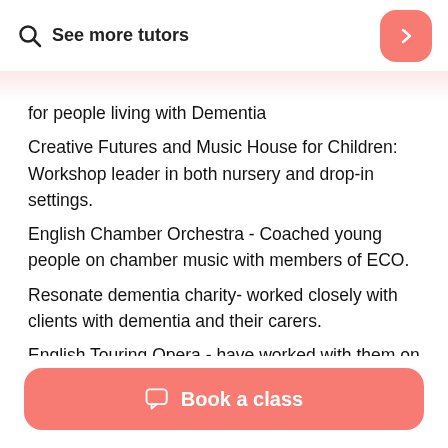See more tutors
for people living with Dementia
Creative Futures and Music House for Children: Workshop leader in both nursery and drop-in settings.
English Chamber Orchestra - Coached young people on chamber music with members of ECO.
Resonate dementia charity- worked closely with clients with dementia and their carers.
English Touring Opera - have worked with them on a few occasions both in mainstream and special
Book a class